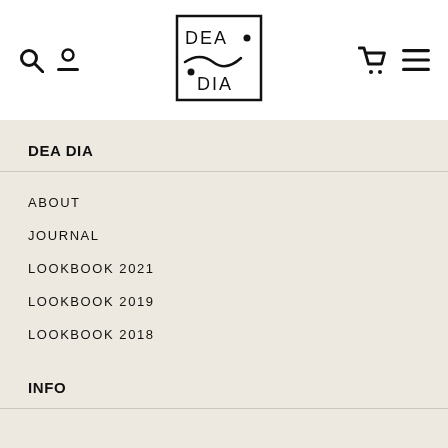[Figure (logo): DEA DIA brand logo — square border with DEA on top, decorative wave/dots in middle, DIA on bottom]
DEA DIA
ABOUT
JOURNAL
LOOKBOOK 2021
LOOKBOOK 2019
LOOKBOOK 2018
INFO